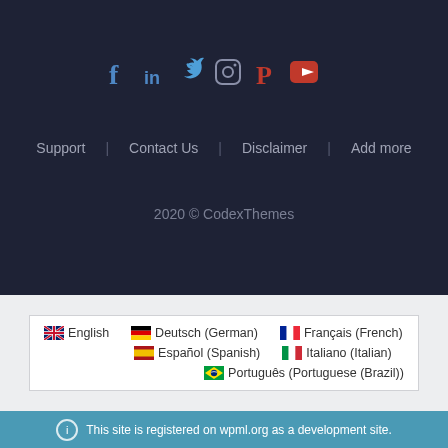[Figure (other): Social media icons row: Facebook (f), LinkedIn (in), Twitter bird, Instagram circle, Pinterest (P), YouTube play button]
Support | Contact Us | Disclaimer | Add more
2020 © CodexThemes
🇬🇧 English   🇩🇪 Deutsch (German)   🇫🇷 Français (French)   🇪🇸 Español (Spanish)   🇮🇹 Italiano (Italian)   🇧🇷 Português (Portuguese (Brazil))
This site is registered on wpml.org as a development site.